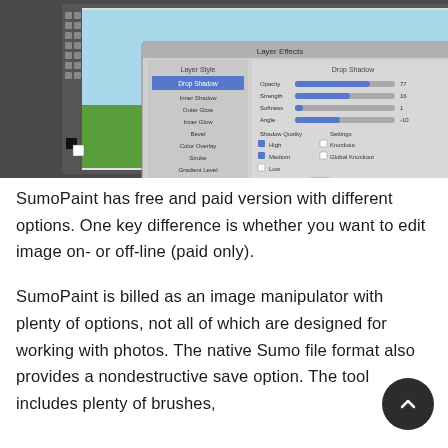[Figure (screenshot): Screenshot of SumoPaint image editing software interface showing a cartoon dog illustration being edited, with Layer Effects dialog open showing Drop Shadow settings, layers panel visible on the right, toolbar on the left, and color palette at the top right.]
SumoPaint has free and paid version with different options. One key difference is whether you want to edit image on- or off-line (paid only).
SumoPaint is billed as an image manipulator with plenty of options, not all of which are designed for working with photos. The native Sumo file format also provides a nondestructive save option. The tool includes plenty of brushes,